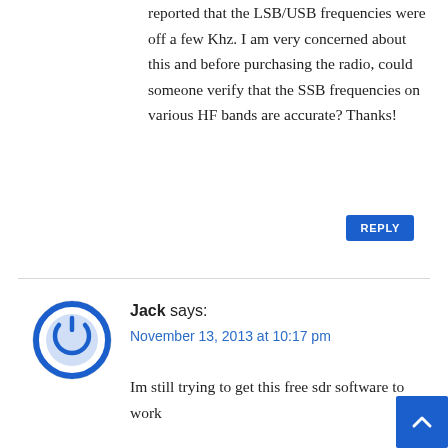reported that the LSB/USB frequencies were off a few Khz. I am very concerned about this and before purchasing the radio, could someone verify that the SSB frequencies on various HF bands are accurate? Thanks!
REPLY
[Figure (illustration): Circular power button icon with blue ring and white symbol on grey background]
Jack says:
November 13, 2013 at 10:17 pm
Im still trying to get this free sdr software to work